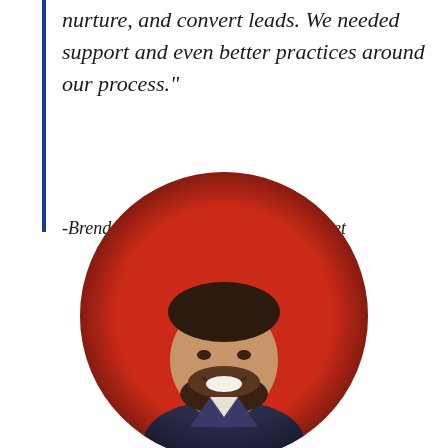nurture, and convert leads. We needed support and even better practices around our process."
-Brendan Walsh, Principal, Mole Street
[Figure (photo): Portrait photo of Brendan Walsh, a smiling bearded man, displayed in a circular crop against a red background, with a soft shadow/vignette effect.]